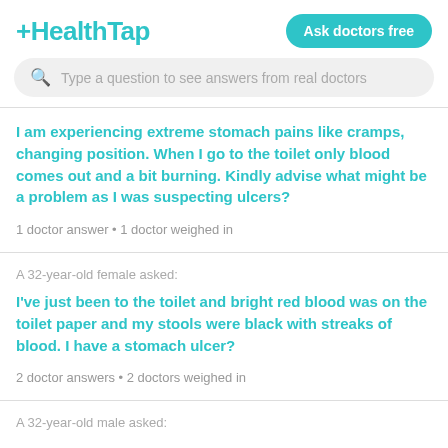+HealthTap
Type a question to see answers from real doctors
I am experiencing extreme stomach pains like cramps, changing position. When I go to the toilet only blood comes out and a bit burning. Kindly advise what might be a problem as I was suspecting ulcers?
1 doctor answer • 1 doctor weighed in
A 32-year-old female asked:
I've just been to the toilet and bright red blood was on the toilet paper and my stools were black with streaks of blood. I have a stomach ulcer?
2 doctor answers • 2 doctors weighed in
A 32-year-old male asked: